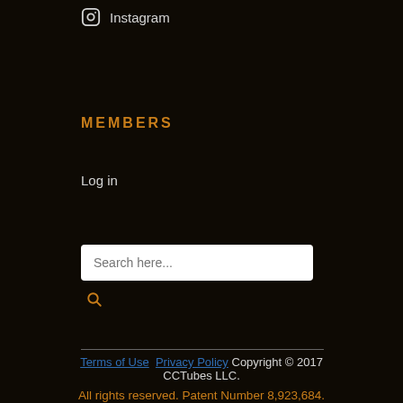Instagram
MEMBERS
Log in
Search here...
Terms of Use  Privacy Policy  Copyright © 2017 CCTubes LLC.
All rights reserved. Patent Number 8,923,684.
This website is not affiliated with YouTube.